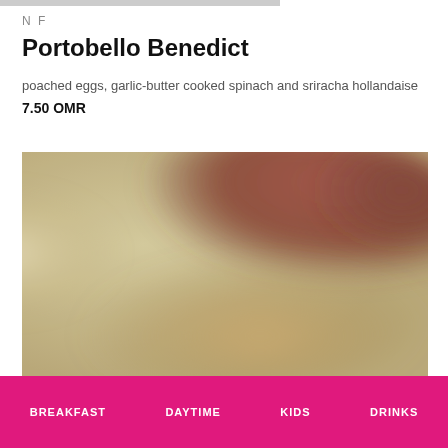N F
Portobello Benedict
poached eggs, garlic-butter cooked spinach and sriracha hollandaise
7.50 OMR
[Figure (photo): Blurred photo of Portobello Benedict dish with poached eggs]
BREAKFAST    DAYTIME    KIDS    DRINKS